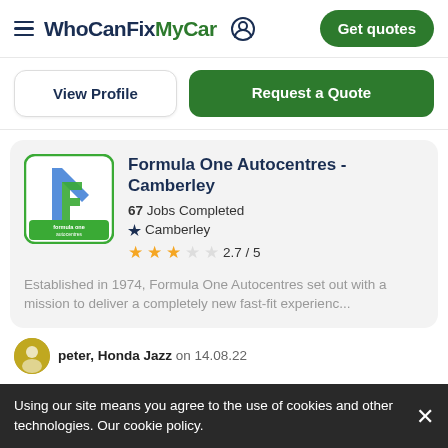WhoCanFixMyCar | Get quotes
View Profile | Request a Quote
Formula One Autocentres - Camberley
67 Jobs Completed
Camberley
2.7 / 5
Established in 1974, Formula One Autocentres set out with a mission to deliver a completely new fast-fit experienc...
peter, Honda Jazz on 14.08.22
Using our site means you agree to the use of cookies and other technologies. Our cookie policy.